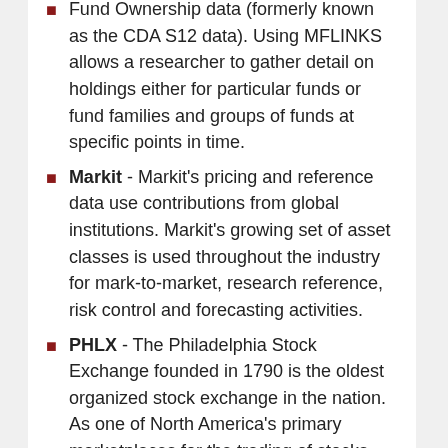Fund Ownership data (formerly known as the CDA S12 data). Using MFLINKS allows a researcher to gather detail on holdings either for particular funds or fund families and groups of funds at specific points in time.
Markit - Markit's pricing and reference data use contributions from global institutions. Markit's growing set of asset classes is used throughout the industry for mark-to-market, research reference, risk control and forecasting activities.
PHLX - The Philadelphia Stock Exchange founded in 1790 is the oldest organized stock exchange in the nation. As one of North America's primary marketplaces for the trading of stocks, equity options, index options and currency options, the PHLX continues to be a market leader in the development and introduction of innovative new products and services.